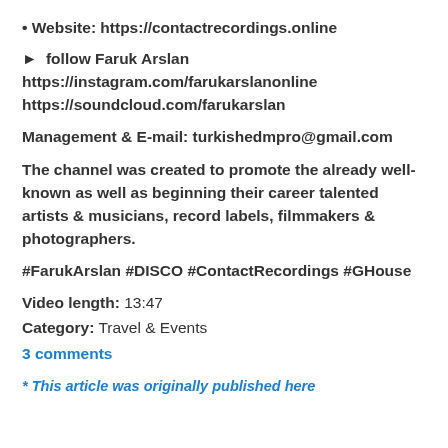• Website: https://contactrecordings.online
► follow Faruk Arslan
https://instagram.com/farukarslanonline
https://soundcloud.com/farukarslan
Management & E-mail: turkishedmpro@gmail.com
The channel was created to promote the already well-known as well as beginning their career talented artists & musicians, record labels, filmmakers & photographers.
#FarukArslan #DISCO #ContactRecordings #GHouse
Video length: 13:47
Category: Travel & Events
3 comments
* This article was originally published here